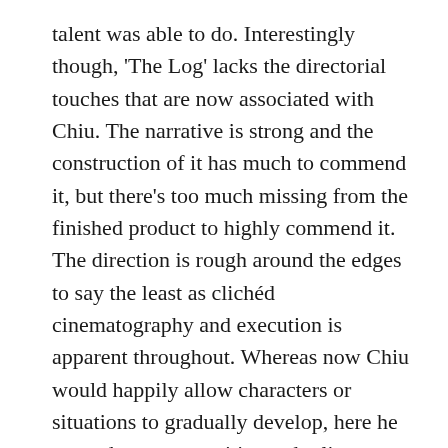talent was able to do. Interestingly though, 'The Log' lacks the directorial touches that are now associated with Chiu. The narrative is strong and the construction of it has much to commend it, but there's too much missing from the finished product to highly commend it. The direction is rough around the edges to say the least as clichéd cinematography and execution is apparent throughout. Whereas now Chiu would happily allow characters or situations to gradually develop, here he squanders opportunities and relies on some heavy-handed imagery to make his points. It's also sad that the most intriguing section of the film – the actions of Longwaist and the effect it has on him – is the shortest and the real inner-torment he feels is barely touched on. Nonetheless, 'The Log' is